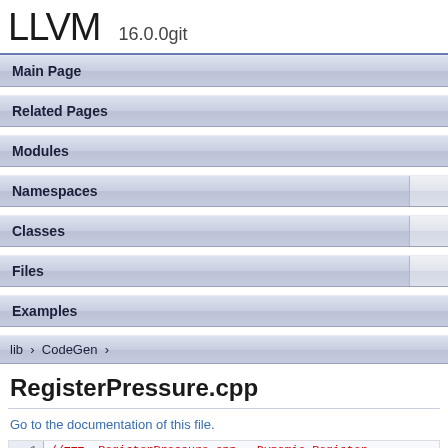LLVM 16.0.0git
Main Page
Related Pages
Modules
Namespaces
Classes
Files
Examples
lib > CodeGen
RegisterPressure.cpp
Go to the documentation of this file.
1  //===- RegisterPressure.cpp - Dynamic Register